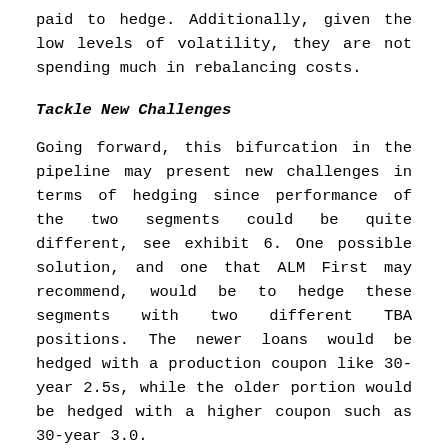paid to hedge. Additionally, given the low levels of volatility, they are not spending much in rebalancing costs.
Tackle New Challenges
Going forward, this bifurcation in the pipeline may present new challenges in terms of hedging since performance of the two segments could be quite different, see exhibit 6. One possible solution, and one that ALM First may recommend, would be to hedge these segments with two different TBA positions. The newer loans would be hedged with a production coupon like 30-year 2.5s, while the older portion would be hedged with a higher coupon such as 30-year 3.0.